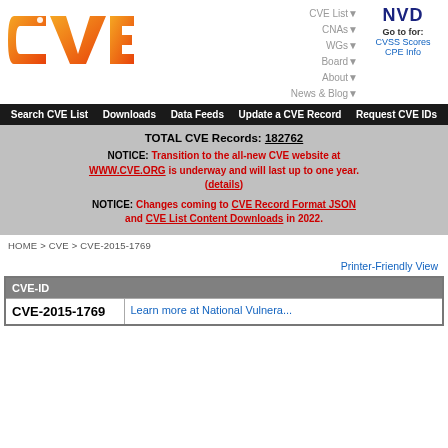[Figure (logo): CVE logo - orange gradient letters CVE with circuit board dots]
CVE List▼  CNAs▼  WGs▼  Board▼  About▼  News & Blog▼
NVD Go to for: CVSS Scores CPE Info
Search CVE List  Downloads  Data Feeds  Update a CVE Record  Request CVE IDs
TOTAL CVE Records: 182762
NOTICE: Transition to the all-new CVE website at WWW.CVE.ORG is underway and will last up to one year. (details)
NOTICE: Changes coming to CVE Record Format JSON and CVE List Content Downloads in 2022.
HOME > CVE > CVE-2015-1769
Printer-Friendly View
| CVE-ID |  |
| --- | --- |
| CVE-2015-1769 | Learn more at National Vulnera... |